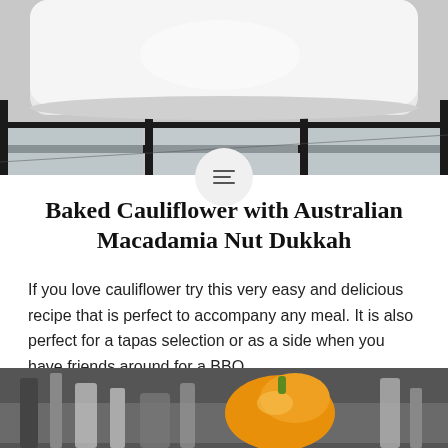[Figure (photo): Top photo showing a kitchen scene with a white dish/baking pan on metal grid rack, viewed from below]
[Figure (photo): Small circular menu icon button with three horizontal lines (hamburger menu) on a light gray circle]
Baked Cauliflower with Australian Macadamia Nut Dukkah
If you love cauliflower try this very easy and delicious recipe that is perfect to accompany any meal. It is also perfect for a tapas selection or as a side when you have friends around for a BBQ.
[Figure (photo): Bottom photo showing kitchen utensils and ingredients including what appears to be an orange/yellow squash or pumpkin and various cooking tools]